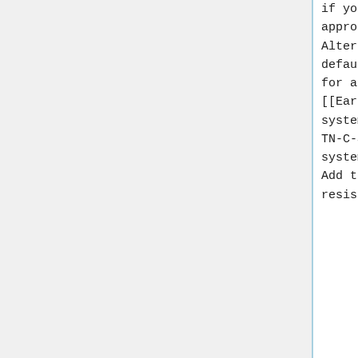if you have the appropriate test gear. Alternatively use the default figures of 0.8 for a TN-S [[Earthing_Types|earthing system]] and 0.35 for a TN-C-S system (for TT systems see notes below). Add to this the cable resistance.
if you have the appropriate test gear. Alternatively use the default figures of 0.8 for a TN-S [[Earthing_Types|earthing system]] and 0.35 for a TN-C-S system (for TT systems see notes below). Add to this the cable resistance.